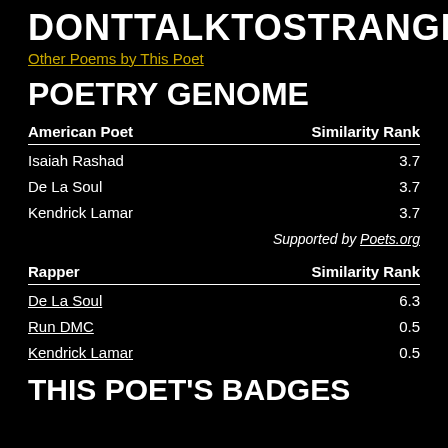DONTTALKTOSTRANGERS
Other Poems by This Poet
POETRY GENOME
| American Poet | Similarity Rank |
| --- | --- |
| Isaiah Rashad | 3.7 |
| De La Soul | 3.7 |
| Kendrick Lamar | 3.7 |
|  | Supported by Poets.org |
| Rapper | Similarity Rank |
| --- | --- |
| De La Soul | 6.3 |
| Run DMC | 0.5 |
| Kendrick Lamar | 0.5 |
THIS POET'S BADGES